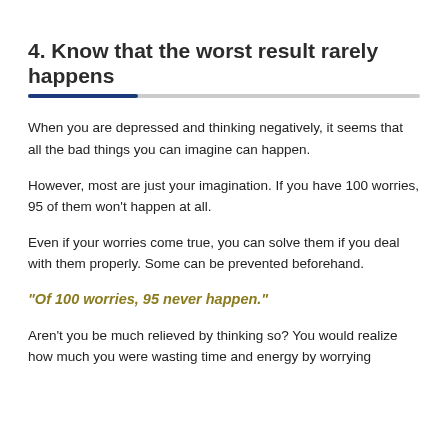4. Know that the worst result rarely happens
When you are depressed and thinking negatively, it seems that all the bad things you can imagine can happen.
However, most are just your imagination. If you have 100 worries, 95 of them won't happen at all.
Even if your worries come true, you can solve them if you deal with them properly. Some can be prevented beforehand.
“Of 100 worries, 95 never happen.”
Aren't you be much relieved by thinking so? You would realize how much you were wasting time and energy by worrying